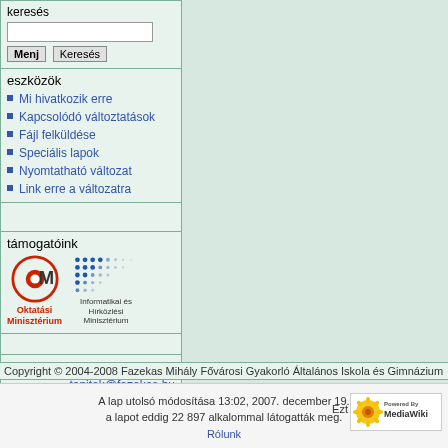keresés
[ input box ] Menj  Keresés
eszközök
Mi hivatkozik erre
Kapcsolódó változtatások
Fájl felküldése
Speciális lapok
Nyomtatható változat
Link erre a változatra
támogatóink
[Figure (logo): Oktatási Minisztérium logo (OM circle) and Informatikai és Hírközlési Minisztérium logo (blue dots pattern)]
kapcsolat
tanitok@fazekas.hu
Copyright © 2004-2008 Fazekas Mihály Fővárosi Gyakorló Általános Iskola és Gimnázium
A lap utolsó módosítása 13:02, 2007. december 19.
a lapot eddig 22 897 alkalommal látogatták meg.
Ezt
[Figure (logo): Powered By MediaWiki badge]
Rólunk